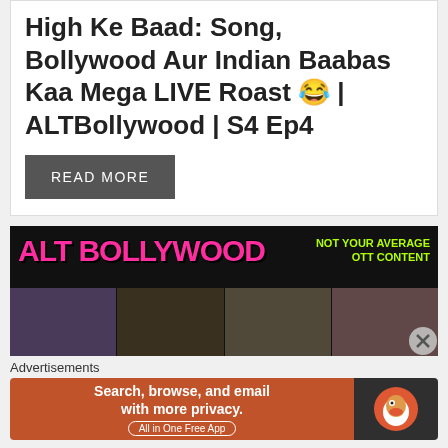High Ke Baad: Song, Bollywood Aur Indian Baabas Kaa Mega LIVE Roast 😂 | ALTBollywood | S4 Ep4
READ MORE
[Figure (screenshot): ALT Bollywood promotional banner with pink neon text 'ALT BOLLYWOOD', green text 'NOT YOUR AVERAGE OTT CONTENT', collage of photos including people and a social media post]
Advertisements
[Figure (screenshot): DuckDuckGo advertisement: 'Search, browse, and email with more privacy. All in One Free App' with DuckDuckGo duck logo on dark background]